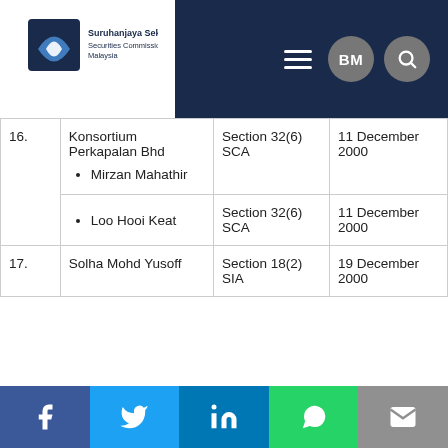Suruhanjaya Sekuriti Securities Commission Malaysia — BM
| No. | Name | Section | Date |
| --- | --- | --- | --- |
| 16. | Konsortium Perkapalan Bhd
• Mirzan Mahathir | Section 32(6) SCA | 11 December 2000 |
|  | • Loo Hooi Keat | Section 32(6) SCA | 11 December 2000 |
| 17. | Solha Mohd Yusoff | Section 18(2) SIA | 19 December 2000 |
Social links: Facebook, Twitter, LinkedIn, WhatsApp, Email